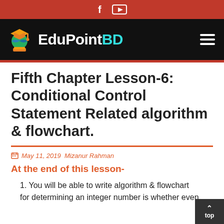EduPointBD — social icons header bar
[Figure (logo): EduPointBD website logo with graduation cap icon on black background]
Fifth Chapter Lesson-6: Conditional Control Statement Related algorithm & flowchart.
May 11, 2019  Mizanur Rahman
At the end of this lesson-
1. You will be able to write algorithm & flowchart for determining an integer number is whether even